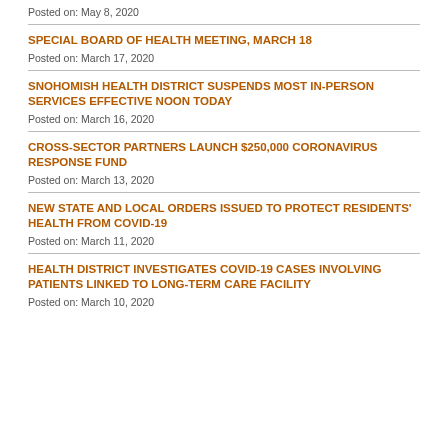Posted on: May 8, 2020
SPECIAL BOARD OF HEALTH MEETING, MARCH 18
Posted on: March 17, 2020
SNOHOMISH HEALTH DISTRICT SUSPENDS MOST IN-PERSON SERVICES EFFECTIVE NOON TODAY
Posted on: March 16, 2020
CROSS-SECTOR PARTNERS LAUNCH $250,000 CORONAVIRUS RESPONSE FUND
Posted on: March 13, 2020
NEW STATE AND LOCAL ORDERS ISSUED TO PROTECT RESIDENTS' HEALTH FROM COVID-19
Posted on: March 11, 2020
HEALTH DISTRICT INVESTIGATES COVID-19 CASES INVOLVING PATIENTS LINKED TO LONG-TERM CARE FACILITY
Posted on: March 10, 2020